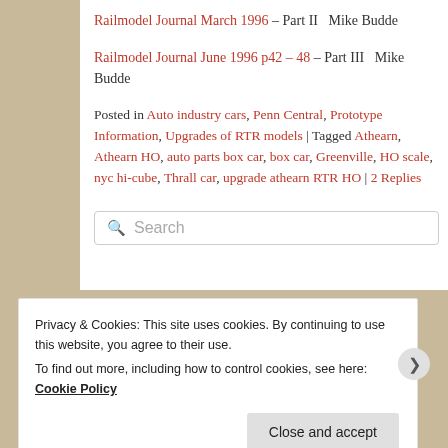Railmodel Journal March 1996 – Part II  Mike Budde
Railmodel Journal June 1996 p42 – 48 – Part III   Mike Budde
Posted in Auto industry cars, Penn Central, Prototype Information, Upgrades of RTR models | Tagged Athearn, Athearn HO, auto parts box car, box car, Greenville, HO scale, nyc hi-cube, Thrall car, upgrade athearn RTR HO | 2 Replies
Search
Privacy & Cookies: This site uses cookies. By continuing to use this website, you agree to their use.
To find out more, including how to control cookies, see here: Cookie Policy